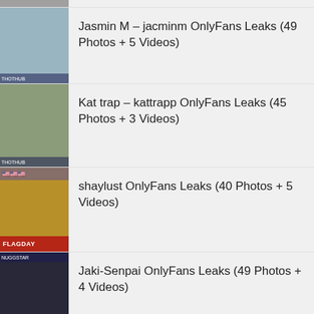Jasmin M – jacminm OnlyFans Leaks (49 Photos + 5 Videos)
Kat trap – kattrapp OnlyFans Leaks (45 Photos + 3 Videos)
shaylust OnlyFans Leaks (40 Photos + 5 Videos)
Jaki-Senpai OnlyFans Leaks (49 Photos + 4 Videos)
tlngt25 OnlyFans Leaks (42 Photos + 2 Videos)